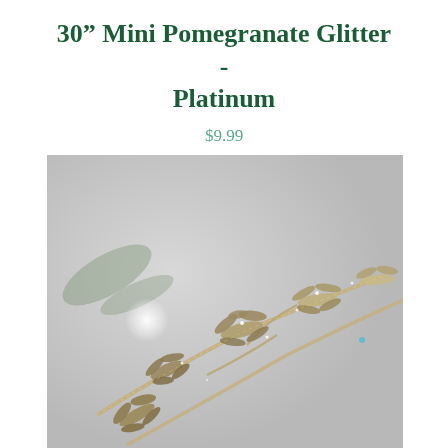30” Mini Pomegranate Glitter - Platinum
$9.99
[Figure (photo): Close-up photograph of a platinum/silver glittery decorative branch with fern-like leaves against a light grey background, with a blurred light bokeh in the background.]